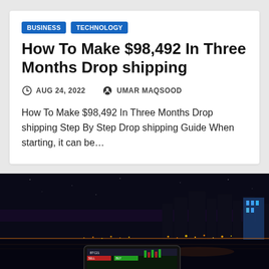BUSINESS
TECHNOLOGY
How To Make $98,492 In Three Months Drop shipping
AUG 24, 2022  UMAR MAQSOOD
How To Make $98,492 In Three Months Drop shipping Step By Step Drop shipping Guide When starting, it can be…
[Figure (photo): Night cityscape with illuminated skyline reflected on water, with a tablet device showing a trading/crypto interface in the foreground]